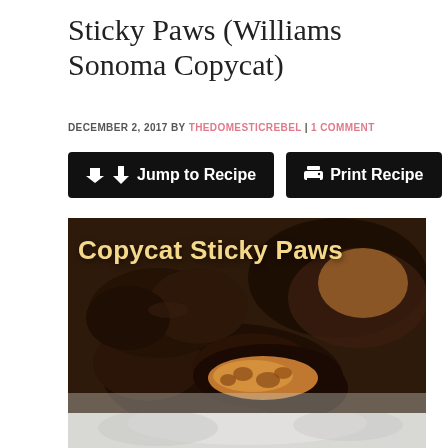Sticky Paws (Williams Sonoma Copycat)
DECEMBER 2, 2017 BY THEDOMESTICREBEL | 1 COMMENT
[Figure (other): Two black buttons side by side: 'Jump to Recipe' with a download arrow icon and 'Print Recipe' with a printer icon, both on black rounded rectangle backgrounds]
[Figure (photo): Close-up photo of chocolate-covered Sticky Paws candies on a white surface. One is broken in half showing the pecan and caramel interior. Text overlay reads 'Copycat Sticky Paws' in yellow font. Background shows more whole chocolate-covered clusters.]
[Figure (photo): Bottom portion of a second photo showing what appears to be white/cream colored confections on a surface.]